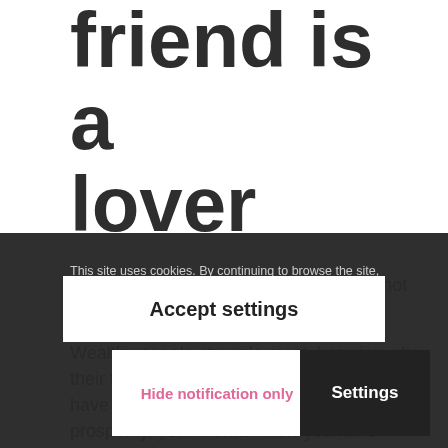friend is a lover
A true friend loves you for who you are not for what you have.
Wealthy people struggle most, knowing who their true friends are. The more money you have the harder it is to tell. As someone in prosperity, your friends know you have money. Do you know who your friends really are? The harder the process of achieving success, you get many Christmas cards when you are rich, term ends you will only get Christmas cards from true
This site uses cookies. By continuing to browse the site, you are agreeing to our use of cookies.
Accept settings
Hide notification only
Settings